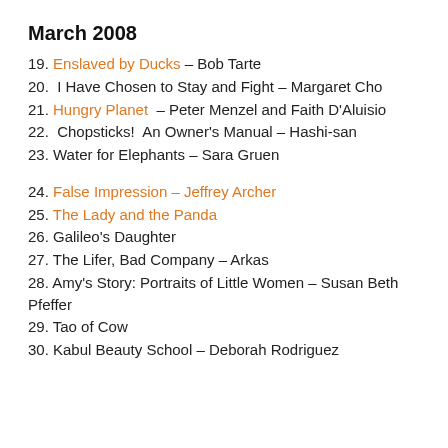March 2008
19. Enslaved by Ducks – Bob Tarte
20. I Have Chosen to Stay and Fight – Margaret Cho
21. Hungry Planet – Peter Menzel and Faith D'Aluisio
22. Chopsticks! An Owner's Manual – Hashi-san
23. Water for Elephants – Sara Gruen
24. False Impression – Jeffrey Archer
25. The Lady and the Panda
26. Galileo's Daughter
27. The Lifer, Bad Company – Arkas
28. Amy's Story: Portraits of Little Women – Susan Beth Pfeffer
29. Tao of Cow
30. Kabul Beauty School – Deborah Rodriguez